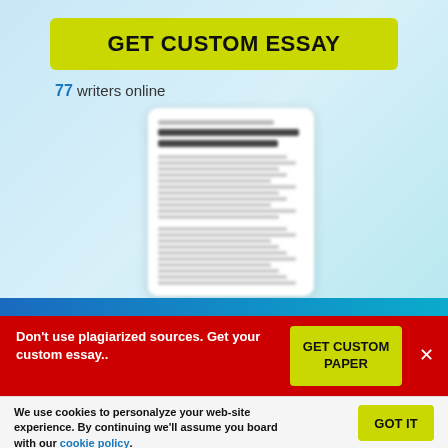GET CUSTOM ESSAY
77 writers online
[Figure (screenshot): Blurred preview of an essay document with text lines and bold title]
Don't use plagiarized sources. Get your custom essay..
GET CUSTOM PAPER
We use cookies to personalyze your web-site experience. By continuing we'll assume you board with our cookie policy.
GOT IT